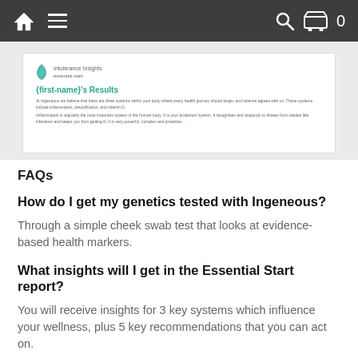Navigation bar with home icon, menu icon, search icon, and cart (0)
[Figure (screenshot): Preview of an Ingeneous Intolerance Insights report showing '{first-name}'s Results' heading in teal and body text about inflammation, detoxification, and vitamin D.]
FAQs
How do I get my genetics tested with Ingeneous?
Through a simple cheek swab test that looks at evidence-based health markers.
What insights will I get in the Essential Start report?
You will receive insights for 3 key systems which influence your wellness, plus 5 key recommendations that you can act on.
How long does it take to get the report back?
We operate on a 3-4 week turnaround to process your DNA test and present your report and recommendations.